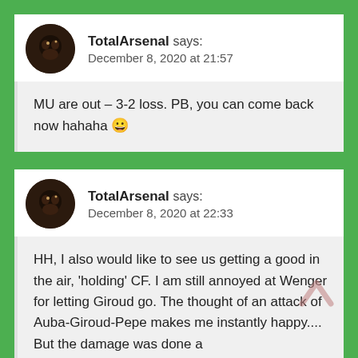TotalArsenal says: December 8, 2020 at 21:57
MU are out – 3-2 loss. PB, you can come back now hahaha 😀
TotalArsenal says: December 8, 2020 at 22:33
HH, I also would like to see us getting a good in the air, 'holding' CF. I am still annoyed at Wenger for letting Giroud go. The thought of an attack of Auba-Giroud-Pepe makes me instantly happy.... But the damage was done a